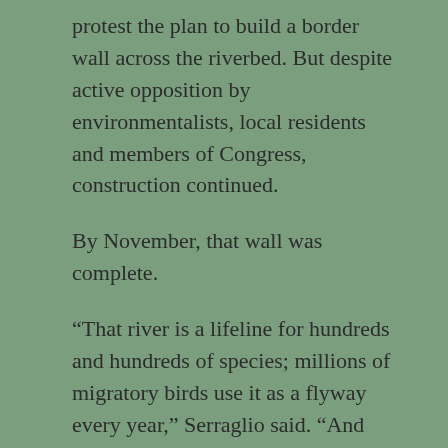protest the plan to build a border wall across the riverbed. But despite active opposition by environmentalists, local residents and members of Congress, construction continued.
By November, that wall was complete.
“That river is a lifeline for hundreds and hundreds of species; millions of migratory birds use it as a flyway every year,” Serraglio said. “And yet they have constructed a wall right across the riverbed that will almost certainly act as a dam and completely disrupt the normal ecological functioning of that river.”
Compounding the environmental impacts is the fact that 2020 was one of the driest and hottest years on record. For parts of the wall that cut across riverbeds